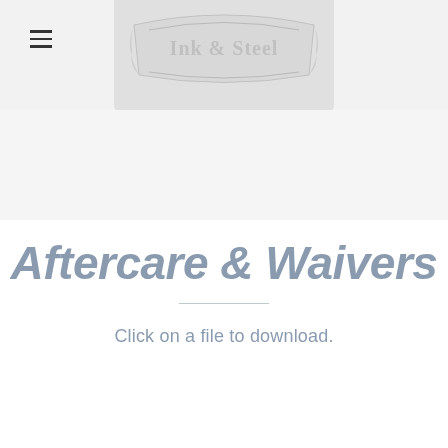[Figure (logo): Ink & Steel tattoo studio logo — banner/scroll shape with serif text 'Ink & Steel' on a light gray background]
Aftercare & Waivers
Click on a file to download.